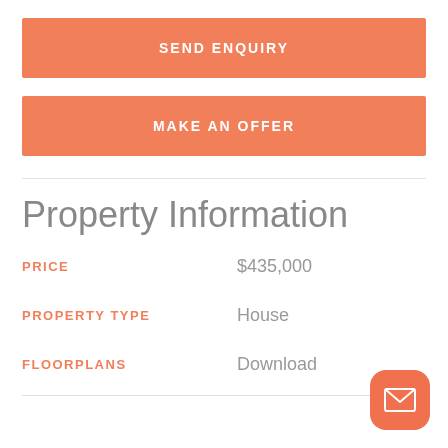SEND ENQUIRY
MAKE AN OFFER
Property Information
| PRICE | $435,000 |
| PROPERTY TYPE | House |
| FLOORPLANS | Download |